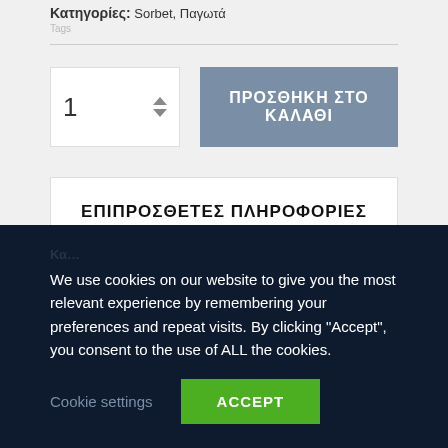Κατηγορίες: Sorbet, Παγωτά
Tags
[Figure (screenshot): Quantity selector box showing '1' with up/down arrows and a grey 'ΠΡΟΣΘΗΚΗ ΣΤΟ ΚΑΛΑΘΙ' button]
ΕΠΙΠΡΟΣΘΕΤΕΣ ΠΛΗΡΟΦΟΡΙΕΣ
We use cookies on our website to give you the most relevant experience by remembering your preferences and repeat visits. By clicking "Accept", you consent to the use of ALL the cookies.
Cookie settings   ACCEPT